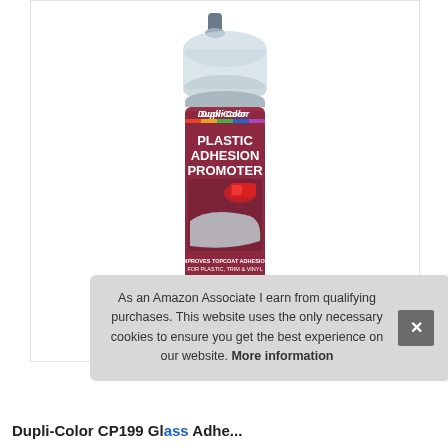[Figure (photo): Dupli-Color Plastic Adhesion Promoter spray can product photo. Can has a maroon/dark red label with white text reading 'Dupli-Color PLASTIC ADHESION PROMOTER'. The label shows an image of a car bumper and tail light. Bottom text reads 'IMPROVES TOPCOAT ADHESION FOR PLASTIC, TRIM & VINYL INTERIOR/EXTERIOR'. The can has a clear plastic cap and gray nozzle.]
As an Amazon Associate I earn from qualifying purchases. This website uses the only necessary cookies to ensure you get the best experience on our website. More information
Dupli-Color CP199 Plastic Adhesion...